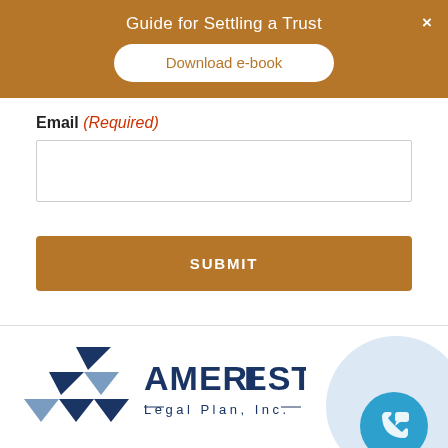Guide for Settling a Trust
Download e-book
Email (Required)
SUBMIT
[Figure (logo): AmeriEstate Legal Plan, Inc. logo with triangular geometric icon in dark blue]